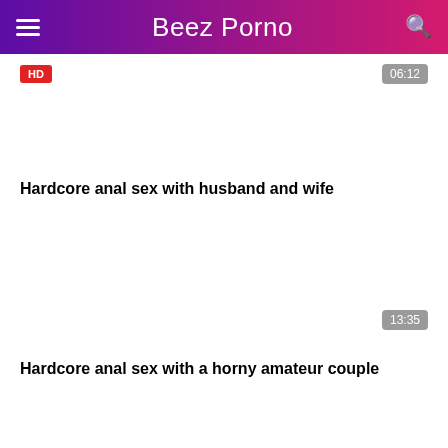Beez Porno
[Figure (screenshot): Video thumbnail card with HD badge and 06:12 duration badge]
Hardcore anal sex with husband and wife
[Figure (screenshot): Video thumbnail card with 13:35 duration badge]
Hardcore anal sex with a horny amateur couple